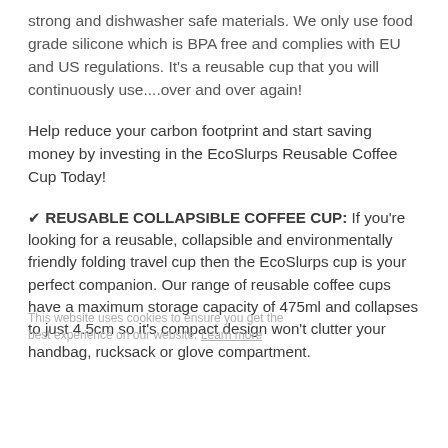strong and dishwasher safe materials. We only use food grade silicone which is BPA free and complies with EU and US regulations. It's a reusable cup that you will continuously use....over and over again!
Help reduce your carbon footprint and start saving money by investing in the EcoSlurps Reusable Coffee Cup Today!
✔ REUSABLE COLLAPSIBLE COFFEE CUP: If you're looking for a reusable, collapsible and environmentally friendly folding travel cup then the EcoSlurps cup is your perfect companion. Our range of reusable coffee cups have a maximum storage capacity of 475ml and collapses to just 4.5cm so it's compact design won't clutter your handbag, rucksack or glove compartment.